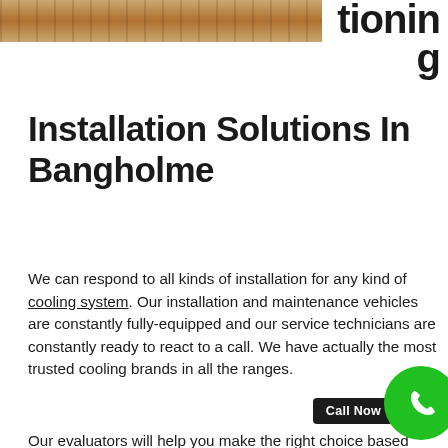[Figure (photo): Photo of wooden flooring/furniture surface, partially visible at top left]
tioning Installation Solutions In Bangholme
We can respond to all kinds of installation for any kind of cooling system. Our installation and maintenance vehicles are constantly fully-equipped and our service technicians are constantly ready to react to a call. We have actually the most trusted cooling brands in all the ranges.
Our evaluators will help you make the right choice based upon your requirements and what will be most appropriate for your house or workplace. In addition we also offer utmost respect to your option of brand if you have any particular option and trust it the most.
We have all types of air conditioning systems including ducted air, split systems and multi systems. While you have your own option, our engineers will constantly keep
[Figure (other): Green circular call now button with phone icon and 'Call Now' label]